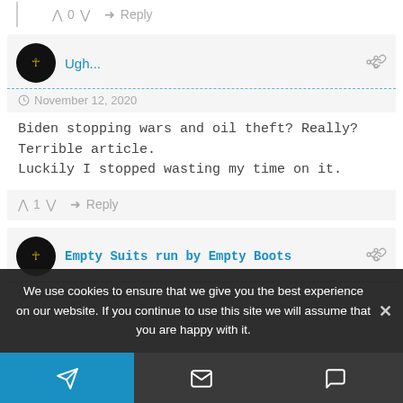^ 0 v  Reply
Ugh...
November 12, 2020
Biden stopping wars and oil theft? Really? Terrible article. Luckily I stopped wasting my time on it.
^ 1 v  Reply
Empty Suits run by Empty Boots
November 26, 2020
We use cookies to ensure that we give you the best experience on our website. If you continue to use this site we will assume that you are happy with it.